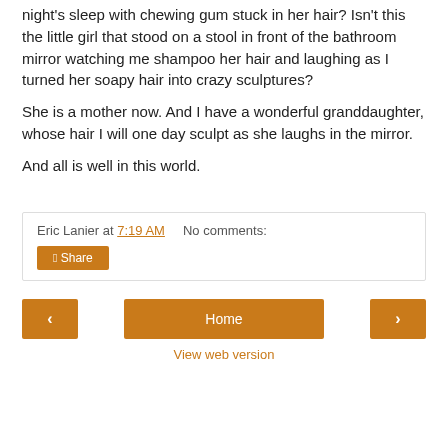night's sleep with chewing gum stuck in her hair?  Isn't this the little girl that stood on a stool in front of the bathroom mirror watching me shampoo her hair and laughing as I turned her soapy hair into crazy sculptures?
She is a mother now.  And I have a wonderful granddaughter, whose hair I will one day sculpt as she laughs in the mirror.
And all is well in this world.
Eric Lanier at 7:19 AM    No comments:
Share
‹
Home
›
View web version